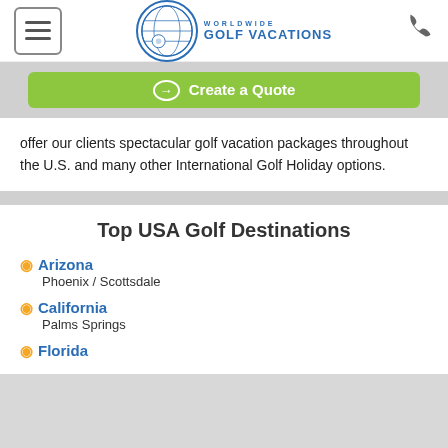Worldwide Golf Vacations — navigation header with hamburger menu, logo, and phone icon
[Figure (screenshot): Green 'Create a Quote' call-to-action button with circled arrow icon]
offer our clients spectacular golf vacation packages throughout the U.S. and many other International Golf Holiday options.
Top USA Golf Destinations
Arizona — Phoenix / Scottsdale
California — Palms Springs
Florida